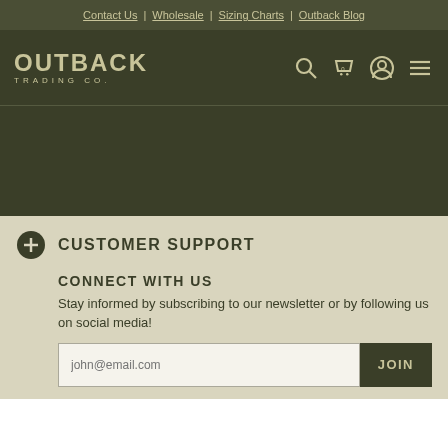Contact Us | Wholesale | Sizing Charts | Outback Blog
[Figure (logo): Outback Trading Co. logo — white/tan text on dark olive background]
[Figure (illustration): Navigation icons: search, cart (0), account, hamburger menu]
CUSTOMER SUPPORT
CONNECT WITH US
Stay informed by subscribing to our newsletter or by following us on social media!
john@email.com  JOIN